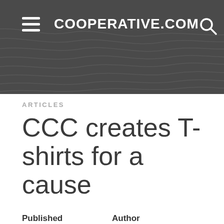COOPERATIVE.COM
ARTICLES
CCC creates T-shirts for a cause
Published
October 29, 2018
Author
Abbey Sprague